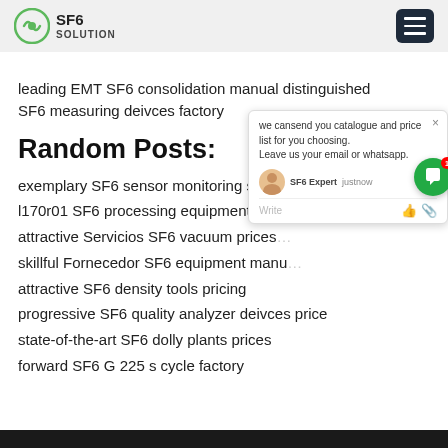SF6 SOLUTION
leading EMT SF6 consolidation manual distinguished SF6 measuring deivces factory
Random Posts:
exemplary SF6 sensor monitoring syste...
l170r01 SF6 processing equipment for s...
attractive Servicios SF6 vacuum prices...
skillful Fornecedor SF6 equipment manu...
attractive SF6 density tools pricing
progressive SF6 quality analyzer deivces price
state-of-the-art SF6 dolly plants prices
forward SF6 G 225 s cycle factory
[Figure (screenshot): Chat popup widget showing 'we cansend you catalogue and price list for you choosing. Leave us your email or whatsapp.' with SF6 Expert avatar, 'justnow' timestamp, Write field with like and attachment icons, and a green chat bubble button with notification badge showing 1]